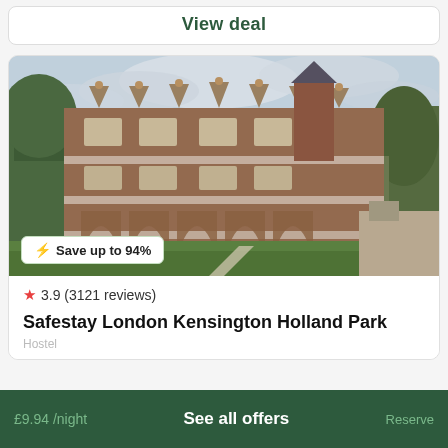View deal
[Figure (photo): Grand Victorian brick building with ornate gabled roofline, surrounded by green lawns and trees under a cloudy sky. The building has arched ground-floor entrances and multiple rows of windows.]
⚡ Save up to 94%
★ 3.9 (3121 reviews)
Safestay London Kensington Holland Park
£9.94 /night
See all offers
Reserve